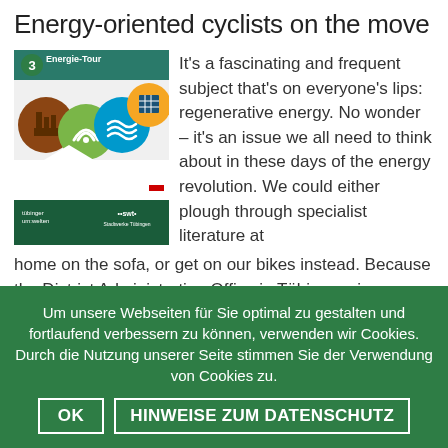Energy-oriented cyclists on the move
[Figure (illustration): Book cover for 'Energie-Tour' number 3, showing icons for factory, geothermal/wifi, water waves, and solar panel on colored circles, with logos for 'tübinger um:welten' and 'swt' (Stadtwerke Tübingen) at the bottom on a teal/dark green background.]
It's a fascinating and frequent subject that's on everyone's lips: regenerative energy. No wonder – it's an issue we all need to think about in these days of the energy revolution. We could either plough through specialist literature at home on the sofa, or get on our bikes instead. Because the District Administration Office in Tübingen, in cooperation with the Stadtwerke Tübingen (swt), Tübingen's public utility provider, as its main sponsor,
Um unsere Webseiten für Sie optimal zu gestalten und fortlaufend verbessern zu können, verwenden wir Cookies. Durch die Nutzung unserer Seite stimmen Sie der Verwendung von Cookies zu.
OK
HINWEISE ZUM DATENSCHUTZ